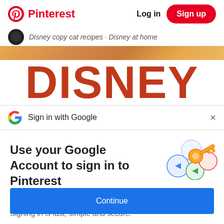Pinterest  Log in  Sign up
Disney copy cat recipes · Disney at home
[Figure (photo): Close-up photo of food, warm orange/brown tones, rounded bottom corners]
DISNEY
Sign in with Google
Use your Google Account to sign in to Pinterest
[Figure (illustration): Google key illustration with colorful circles and a golden key]
No more passwords to remember. Signing in is fast, simple and secure.
Continue